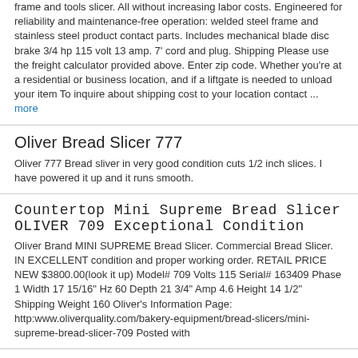frame and tools slicer. All without increasing labor costs. Engineered for reliability and maintenance-free operation: welded steel frame and stainless steel product contact parts. Includes mechanical blade disc brake 3/4 hp 115 volt 13 amp. 7' cord and plug. Shipping Please use the freight calculator provided above. Enter zip code. Whether you're at a residential or business location, and if a liftgate is needed to unload your item To inquire about shipping cost to your location contact ... more
Oliver Bread Slicer 777
Oliver 777 Bread sliver in very good condition cuts 1/2 inch slices. I have powered it up and it runs smooth.
Countertop Mini Supreme Bread Slicer OLIVER 709 Exceptional Condition
Oliver Brand MINI SUPREME Bread Slicer. Commercial Bread Slicer. IN EXCELLENT condition and proper working order. RETAIL PRICE NEW $3800.00(look it up) Model# 709 Volts 115 Serial# 163409 Phase 1 Width 17 15/16" Hz 60 Depth 21 3/4" Amp 4.6 Height 14 1/2" Shipping Weight 160 Oliver's Information Page: http:www.oliverquality.com/bakery-equipment/bread-slicers/mini-supreme-bread-slicer-709 Posted with
BREAD SLICER OLIVER 797-32, NSF, Commercial, tested! READY TO SHIP! GREAT DEAL!